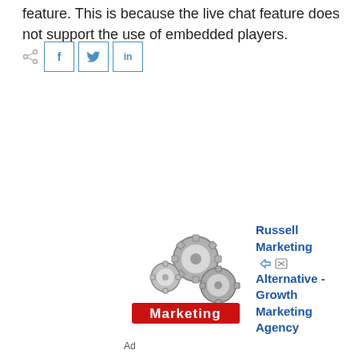feature. This is because the live chat feature does not support the use of embedded players.
[Figure (infographic): Social share icon and buttons for Facebook (f), Twitter bird, and LinkedIn (in)]
[Figure (infographic): Advertisement image showing metallic gears with red 'Marketing' text below. Ad for Russell Marketing Alternative - Growth Marketing Agency.]
Ad